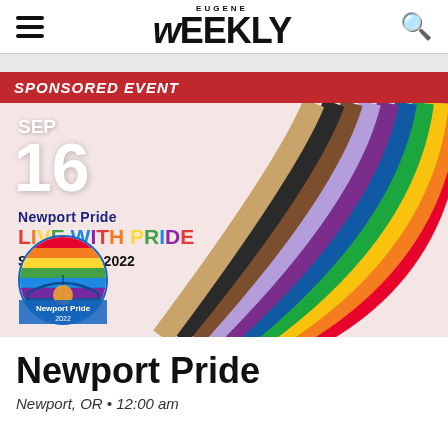EUGENE Weekly
SPONSORED EVENT
[Figure (illustration): Newport Pride Live With Pride event promotional image with rainbow arc on pink background, showing date Sep 16, Newport Pride LIVE WITH PRIDE text, Sept 16-18 2022, and Newport Pride 2022 circular badge logo]
Newport Pride
Newport, OR • 12:00 am